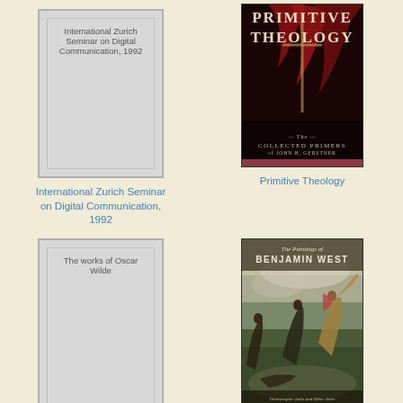[Figure (illustration): Placeholder gray book cover for International Zurich Seminar on Digital Communication, 1992]
International Zurich Seminar on Digital Communication, 1992
[Figure (photo): Book cover of Primitive Theology: The Collected Primers of John H. Gerstner — dark red/black cover with dramatic imagery]
Primitive Theology
[Figure (illustration): Placeholder gray book cover for The works of Oscar Wilde]
[Figure (photo): Book cover of The Paintings of Benjamin West — battle scene painting with soldiers and figures]